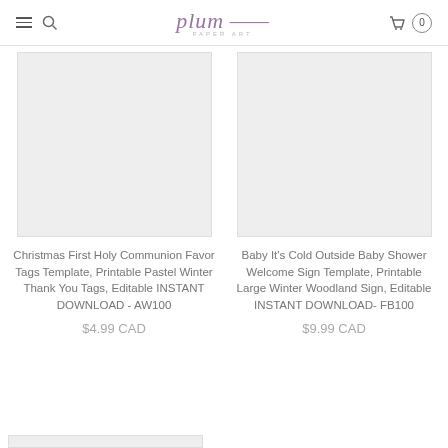plum — navigation header with hamburger menu, search, logo, cart icon, count 0
[Figure (photo): Light gray placeholder product image for Christmas First Holy Communion Favor Tags]
Christmas First Holy Communion Favor Tags Template, Printable Pastel Winter Thank You Tags, Editable INSTANT DOWNLOAD - AW100
$4.99 CAD
[Figure (photo): Light gray placeholder product image for Baby It's Cold Outside Baby Shower Welcome Sign]
Baby It's Cold Outside Baby Shower Welcome Sign Template, Printable Large Winter Woodland Sign, Editable INSTANT DOWNLOAD- FB100
$9.99 CAD